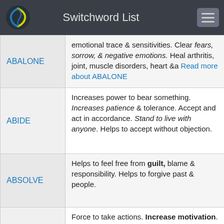Switchword List
| Word | Description |
| --- | --- |
| ABALONE | emotional trace & sensitivities. Clear fears, sorrow, & negative emotions. Heal arthritis, joint, muscle disorders, heart &a Read more about ABALONE |
| ABIDE | Increases power to bear something. Increases patience & tolerance. Accept and act in accordance. Stand to live with anyone. Helps to accept without objection. |
| ABSOLVE | Helps to feel free from guilt, blame & responsibility. Helps to forgive past & people. |
| ACT | Force to take actions. Increase motivation. Improve performance, play, work, triumph & reaction time. |